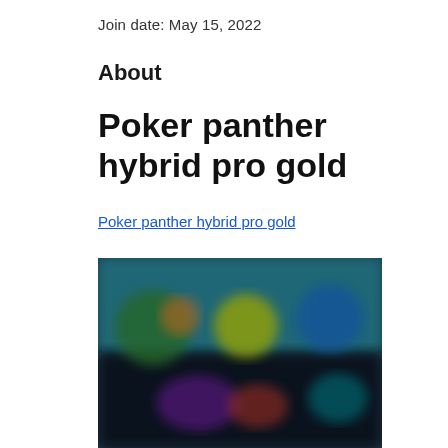Join date: May 15, 2022
About
Poker panther hybrid pro gold
Poker panther hybrid pro gold
[Figure (screenshot): Blurred screenshot of a poker or gaming application interface showing multiple character/player icons on a dark background with teal and colorful elements]